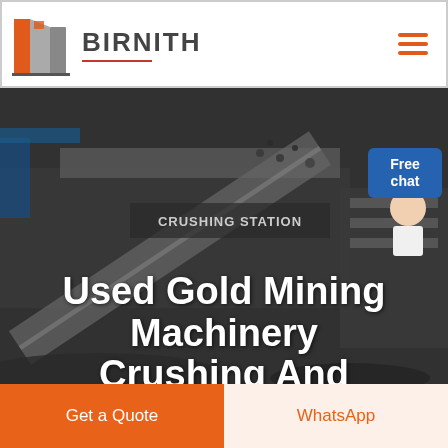[Figure (logo): Birnith company logo: orange and grey building/pillar icon with brand name BIRNITH in bold grey letters and red underline]
[Figure (photo): Industrial crushing station machinery at a mining site, dark/grey tone background image]
Used Gold Mining Machinery Crushing And Washing
[Figure (photo): Free chat button with person/agent illustration in top right corner over the hero image]
Get a Quote
WhatsApp